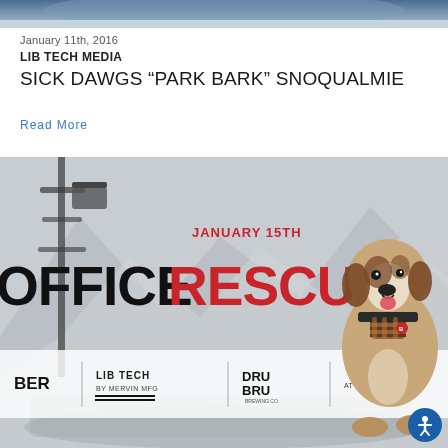[Figure (photo): Partial top banner image showing a snowy ski scene, cropped at top of page]
January 11th, 2016
LIB TECH MEDIA
SICK DAWGS “PARK BARK” SNOQUALMIE
Read More
[Figure (photo): Promotional image for 'Office Rescue' event on January 15th at The Summit at Snoqualmie. Background shows ski lift and mountain. A Saint Bernard dog with a barrel collar sits at right. Sponsor logos at bottom: Uber, Lib Tech, Dru Bru, The Summit at Snoqualmie. Large text reads OFFICE in black and RESCUE in red.]